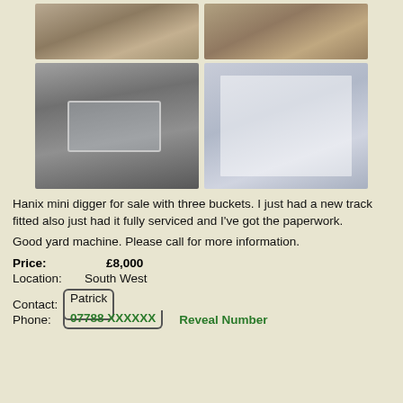[Figure (photo): Two photos of a mini digger in outdoor ground setting, top row]
[Figure (photo): Left: close-up of dashboard/instrument panel of Hanix mini digger. Right: service paperwork/documents on paper.]
Hanix mini digger for sale with three buckets. I just had a new track fitted also just had it fully serviced and I've got the paperwork.
Good yard machine. Please call for more information.
Price:      £8,000
Location:  South West
Contact:  Patrick
Phone:    07788 XXXXXX    Reveal Number